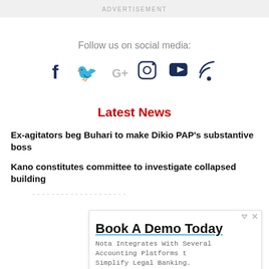ADVERTISEMENT
Follow us on social media:
[Figure (infographic): Social media icons: Facebook, Twitter, Google+, Instagram, YouTube, RSS feed]
Latest News
Ex-agitators beg Buhari to make Dikio PAP's substantive boss
Kano constitutes committee to investigate collapsed building
[Figure (screenshot): Advertisement overlay: Book A Demo Today — Nota Integrates With Several Accounting Platforms to Simplify Legal Banking. Nota. Open button.]